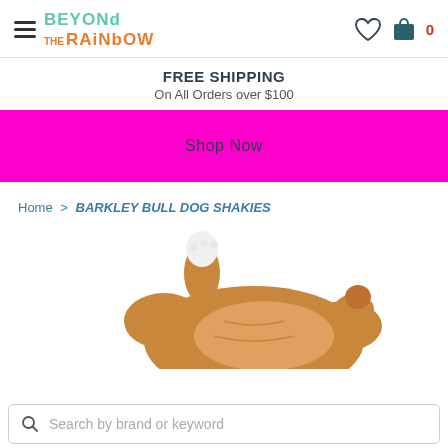Beyond The Rainbow - navigation header with hamburger menu, logo, heart icon, and cart (0)
FREE SHIPPING
On All Orders over $100
Shop Now
Home > BARKLEY BULL DOG SHAKIES
[Figure (photo): Photo of a brown stuffed bulldog toy (Barkley Bull Dog Shakies) lying on its back, showing its paws and underbelly, partially cropped at bottom of page]
Search by brand or keyword